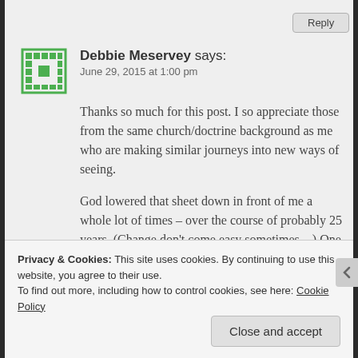Reply
Debbie Meservey says:
June 29, 2015 at 1:00 pm
Thanks so much for this post. I so appreciate those from the same church/doctrine background as me who are making similar journeys into new ways of seeing.
God lowered that sheet down in front of me a whole lot of times – over the course of probably 25 years. (Change don't come easy sometimes…) One of my first nudges 25 years ago was reading a response in a widely-read Christian publication to a letter from a gay man.
Privacy & Cookies: This site uses cookies. By continuing to use this website, you agree to their use.
To find out more, including how to control cookies, see here: Cookie Policy
Close and accept